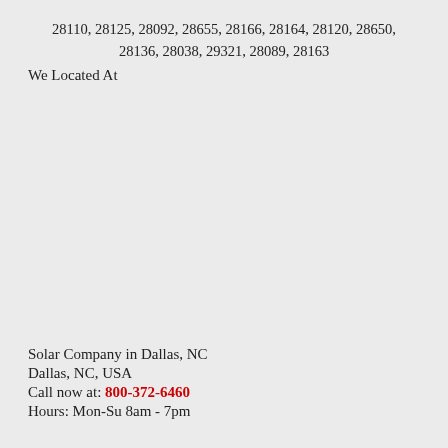28110, 28125, 28092, 28655, 28166, 28164, 28120, 28650, 28136, 28038, 29321, 28089, 28163
We Located At
Solar Company in Dallas, NC
Dallas, NC, USA
Call now at: 800-372-6460
Hours: Mon-Su 8am - 7pm